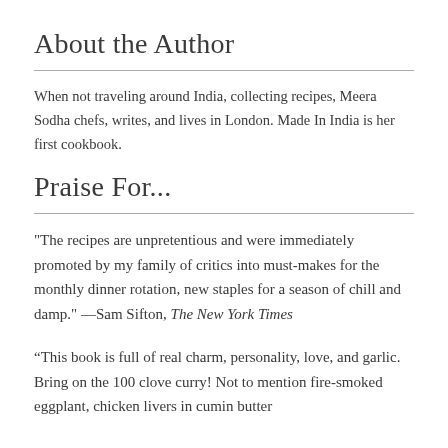About the Author
When not traveling around India, collecting recipes, Meera Sodha chefs, writes, and lives in London. Made In India is her first cookbook.
Praise For...
"The recipes are unpretentious and were immediately promoted by my family of critics into must-makes for the monthly dinner rotation, new staples for a season of chill and damp." —Sam Sifton, The New York Times
“This book is full of real charm, personality, love, and garlic. Bring on the 100 clove curry! Not to mention fire-smoked eggplant, chicken livers in cumin butter